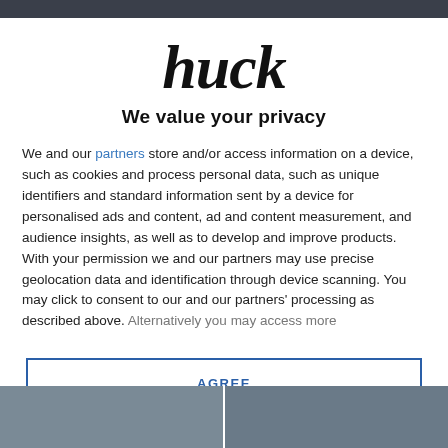[Figure (logo): Huck magazine logo in large bold italic serif font]
We value your privacy
We and our partners store and/or access information on a device, such as cookies and process personal data, such as unique identifiers and standard information sent by a device for personalised ads and content, ad and content measurement, and audience insights, as well as to develop and improve products. With your permission we and our partners may use precise geolocation data and identification through device scanning. You may click to consent to our and our partners' processing as described above. Alternatively you may access more
AGREE
MORE OPTIONS
[Figure (photo): Two thumbnail images at the bottom of the page showing people]